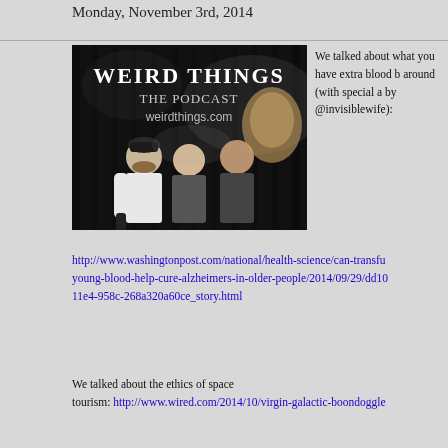Monday, November 3rd, 2014
[Figure (photo): Weird Things The Podcast weirdthings.com - podcast cover art showing three men against a dark smoky background]
We talked about what you have extra blood b around (with special a by @invisiblewife):
http://www.washingtonpost.com/national/health-science/can-transfu young-blood-help-cure-alzheimers-in-older-people/2014/09/29/dd10 11e4-958c-268a320a60ce_story.html
We talked about the ethics of space tourism: http://www.wired.com/2014/10/virgin-galactic-boondoggle